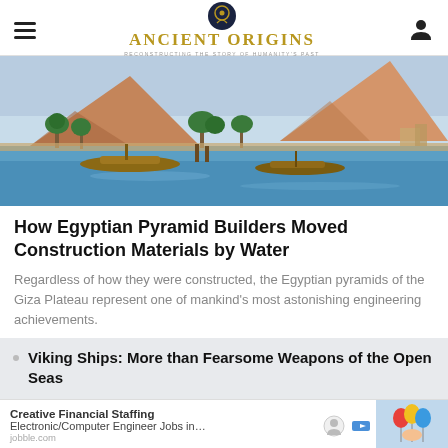Ancient Origins — Reconstructing the story of humanity's past
[Figure (illustration): Artistic illustration of the Giza Plateau with pyramids, palm trees, and boats on the Nile river]
How Egyptian Pyramid Builders Moved Construction Materials by Water
Regardless of how they were constructed, the Egyptian pyramids of the Giza Plateau represent one of mankind's most astonishing engineering achievements.
Viking Ships: More than Fearsome Weapons of the Open Seas
[Figure (photo): Advertisement image showing people with colorful balloons — Creative Financial Staffing Electronic/Computer Engineer Jobs in... jobble.com]
...pelling n Ancient Egypt
The Man Who Stopped a Desert Using Ancient